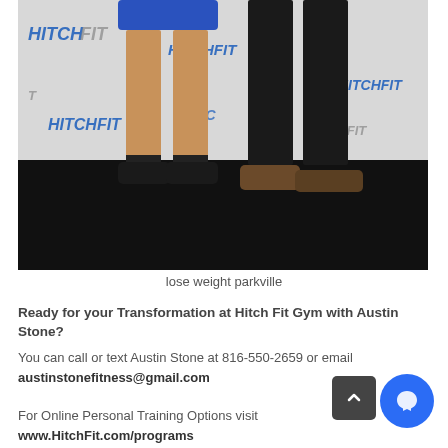[Figure (photo): Two people standing in front of a HitchFit branded backdrop. Person on left wearing blue shorts and black sneakers, person on right wearing black pants and brown shoes. Lower bodies visible only.]
lose weight parkville
Ready for your Transformation at Hitch Fit Gym with Austin Stone?
You can call or text Austin Stone at 816-550-2659 or email austinstonefitness@gmail.com
For Online Personal Training Options visit www.HitchFit.com/programs